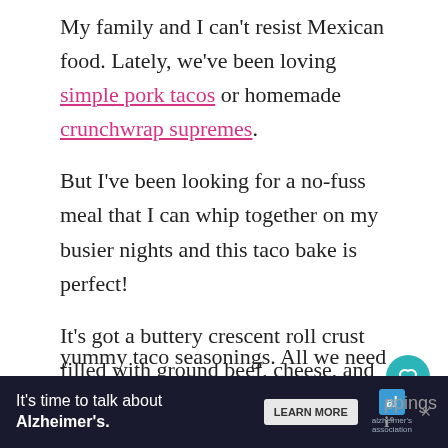My family and I can't resist Mexican food. Lately, we've been loving simple pork tacos or homemade crunchwrap supremes.
But I've been looking for a no-fuss meal that I can whip together on my busier nights and this taco bake is perfect!
It's got a buttery crescent roll crust filled with ground beef, cheese, and all the yummy taco seasonings. All we need to do
It's time to talk about Alzheimer's.
LEARN MORE
ppings